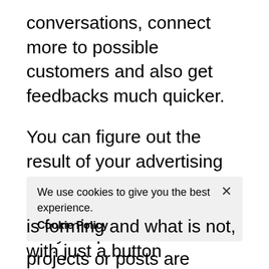conversations, connect more to possible customers and also get feedbacks much quicker.
You can figure out the result of your advertising campaigns quicker when you discover exactly how will your promotional projects or posts are executing; whether there has actually been a rise in your site site visitors for channel customers since the beginning of a campaign. You can learn what
We use cookies to give you the best experience. Cookie Policy ×
is forming and what is not, with just a button